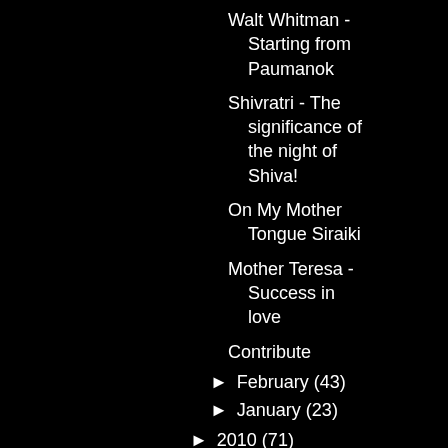Walt Whitman - Starting from Paumanok
Shivratri - The significance of the night of Shiva!
On My Mother Tongue Siraiki
Mother Teresa - Success in love
Contribute
► February (43)
► January (23)
► 2010 (71)
► 2009 (15)
► 2008 (15)
► 2007 (9)
► 1999 (1)